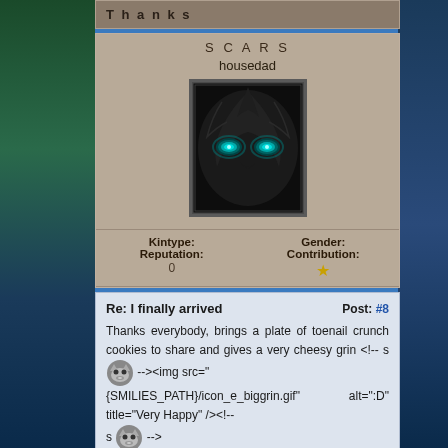Thanks
SCARS
housedad
[Figure (photo): Dark avatar image showing a creature with glowing teal/green eyes on a black background, framed with decorative border]
| Kintype: | Gender: | Reputation: | Contribution: |
| --- | --- | --- | --- |
|  |  |
| 0 | ★ |
Re: I finally arrived
Post: #8
Thanks everybody, brings a plate of toenail crunch cookies to share and gives a very cheesy grin <!-- s --><img src="{SMILIES_PATH}/icon_e_biggrin.gif" alt=":D" title="Very Happy" /><!-- s -->
2008-01-28 22:30
Find   Quote